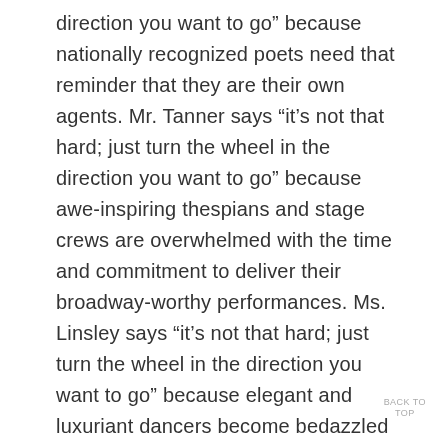direction you want to go” because nationally recognized poets need that reminder that they are their own agents. Mr. Tanner says “it’s not that hard; just turn the wheel in the direction you want to go” because awe-inspiring thespians and stage crews are overwhelmed with the time and commitment to deliver their broadway-worthy performances. Ms. Linsley says “it’s not that hard; just turn the wheel in the direction you want to go” because elegant and luxuriant dancers become bedazzled with the complexity and poise required to accomplish their flawless and professional-level performances. Mr. Beckwith says “it’s not that hard; just turn the wheel in the direction you want to go” because quick-witted and eloquent debaters need that reinforcement to push through their multi-day tournaments and achieve their victories.